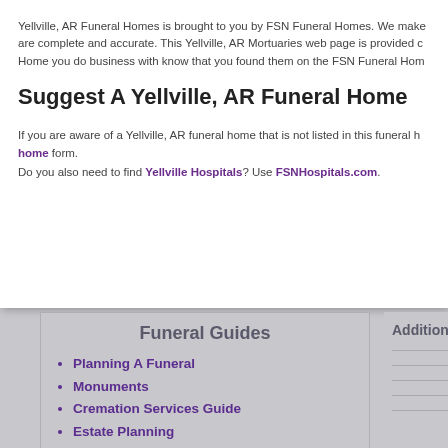Yellville, AR Funeral Homes is brought to you by FSN Funeral Homes. We make are complete and accurate. This Yellville, AR Mortuaries web page is provided c Home you do business with know that you found them on the FSN Funeral Hom
Suggest A Yellville, AR Funeral Home
If you are aware of a Yellville, AR funeral home that is not listed in this funeral h home form.
Do you also need to find Yellville Hospitals? Use FSNHospitals.com.
Funeral Guides
Planning A Funeral
Monuments
Cremation Services Guide
Estate Planning
Grief Support Resources
Funeral Flower Planning
Funeral Etiquette
Additional R